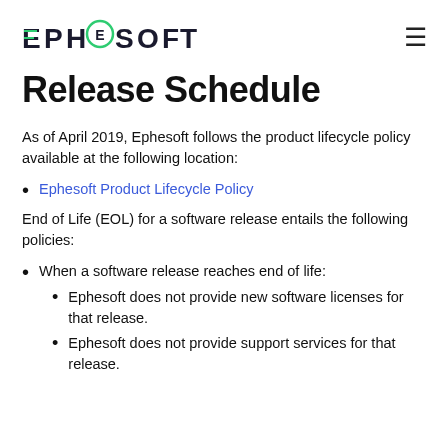Ephesoft [logo]
Release Schedule
As of April 2019, Ephesoft follows the product lifecycle policy available at the following location:
Ephesoft Product Lifecycle Policy
End of Life (EOL) for a software release entails the following policies:
When a software release reaches end of life:
Ephesoft does not provide new software licenses for that release.
Ephesoft does not provide support services for that release.